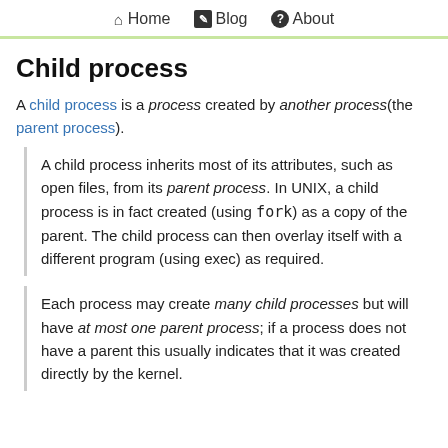Home  Blog  About
Child process
A child process is a process created by another process(the parent process).
A child process inherits most of its attributes, such as open files, from its parent process. In UNIX, a child process is in fact created (using fork) as a copy of the parent. The child process can then overlay itself with a different program (using exec) as required.
Each process may create many child processes but will have at most one parent process; if a process does not have a parent this usually indicates that it was created directly by the kernel.